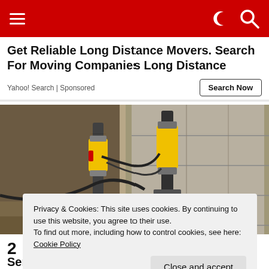Navigation bar with hamburger menu and search/dark mode icons
Get Reliable Long Distance Movers. Search For Moving Companies Long Distance
Yahoo! Search | Sponsored
[Figure (photo): Engineering photo showing foundation repair equipment with yellow hydraulic cylinders/piers mounted against a concrete block wall, with cables and hoses visible in an excavated area]
Privacy & Cookies: This site uses cookies. By continuing to use this website, you agree to their use.
To find out more, including how to control cookies, see here: Cookie Policy
Close and accept
2
Services could be cheaper than you think